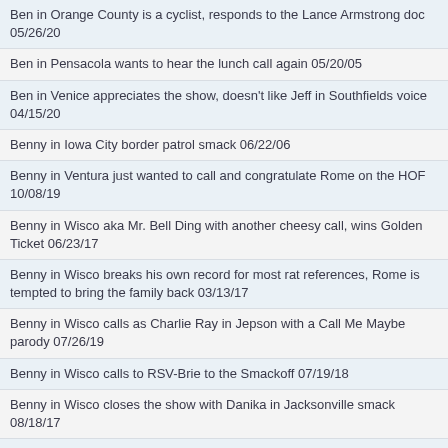Ben in Orange County is a cyclist, responds to the Lance Armstrong doc 05/26/20
Ben in Pensacola wants to hear the lunch call again 05/20/05
Ben in Venice appreciates the show, doesn't like Jeff in Southfields voice 04/15/20
Benny in Iowa City border patrol smack 06/22/06
Benny in Ventura just wanted to call and congratulate Rome on the HOF 10/08/19
Benny in Wisco aka Mr. Bell Ding with another cheesy call, wins Golden Ticket 06/23/17
Benny in Wisco breaks his own record for most rat references, Rome is tempted to bring the family back 03/13/17
Benny in Wisco calls as Charlie Ray in Jepson with a Call Me Maybe parody 07/26/19
Benny in Wisco calls to RSV-Brie to the Smackoff 07/19/18
Benny in Wisco closes the show with Danika in Jacksonville smack 08/18/17
Benny in Wisco has an early beef entry for Buzz McCallister from Home Alone 12/23/20
Benny in Wisco has another cheesy story, has Alvie 'rat' him 07/21/16
Benny in Wisco on Mark in Boston, Reggie in the OC, and Jeff in Southfield, urges Golden Ticket holders not to call 05/15/20
Benny in Wisco parodies a Matt in LA call, gets a delayed buzzer 02/28/19
Benny in Wisco responds to the Canadians, gets run for a D reference